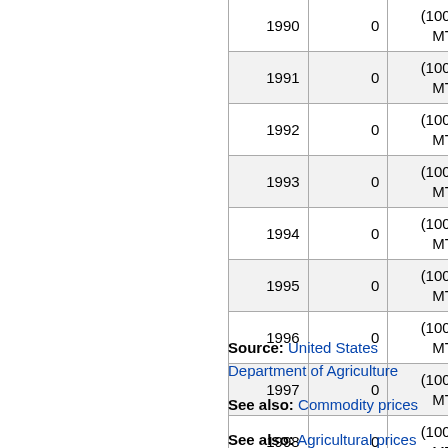| Year | Value | Unit |
| --- | --- | --- |
| 1990 | 0 | (1000 MT) |
| 1991 | 0 | (1000 MT) |
| 1992 | 0 | (1000 MT) |
| 1993 | 0 | (1000 MT) |
| 1994 | 0 | (1000 MT) |
| 1995 | 0 | (1000 MT) |
| 1996 | 0 | (1000 MT) |
| 1997 | 0 | (1000 MT) |
| 1998 | 0 | (1000 MT) |
Source: United States Department of Agriculture
See also: Commodity prices
See also: Agricultural prices